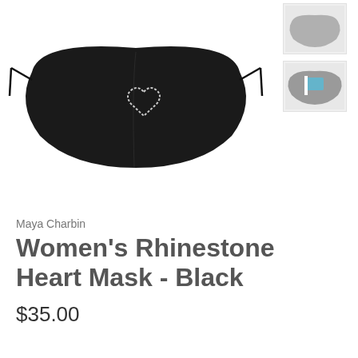[Figure (photo): Black fabric face mask with rhinestone heart outline design, adjustable tie strings on sides, displayed on white background]
[Figure (photo): Small thumbnail of a grey face mask variant]
[Figure (photo): Small thumbnail of a grey and blue face mask variant]
Maya Charbin
Women's Rhinestone Heart Mask - Black
$35.00